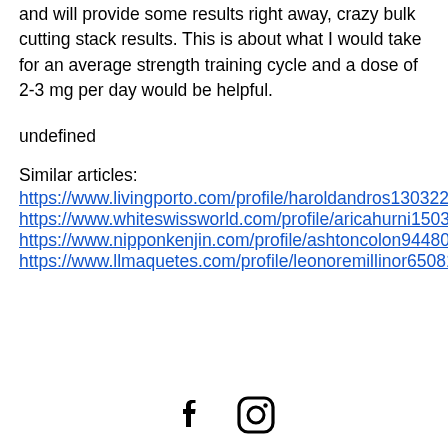and will provide some results right away, crazy bulk cutting stack results. This is about what I would take for an average strength training cycle and a dose of 2-3 mg per day would be helpful.
undefined
Similar articles: https://www.livingporto.com/profile/haroldandros130322/profile https://www.whiteswissworld.com/profile/aricahurni15030/profile https://www.nipponkenjin.com/profile/ashtoncolon94480/profile https://www.llmaquetes.com/profile/leonoremillinor65081/profile
[Figure (illustration): Facebook and Instagram social media icons in black]